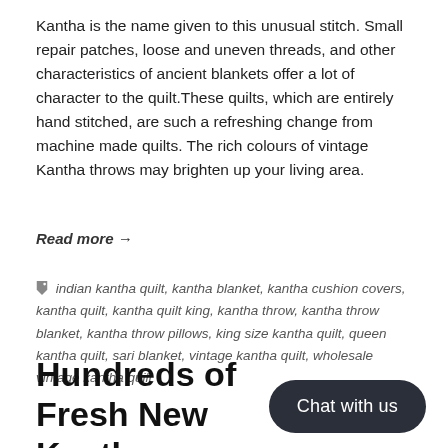Kantha is the name given to this unusual stitch. Small repair patches, loose and uneven threads, and other characteristics of ancient blankets offer a lot of character to the quilt.These quilts, which are entirely hand stitched, are such a refreshing change from machine made quilts. The rich colours of vintage Kantha throws may brighten up your living area.
Read more →
indian kantha quilt, kantha blanket, kantha cushion covers, kantha quilt, kantha quilt king, kantha throw, kantha throw blanket, kantha throw pillows, king size kantha quilt, queen kantha quilt, sari blanket, vintage kantha quilt, wholesale vintage kantha quilt
Hundreds of Fresh New Kantha quilts are now available Handloom
Chat with us